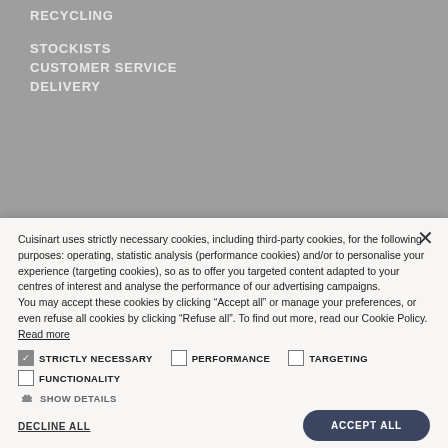RECYCLING
STOCKISTS
CUSTOMER SERVICE
DELIVERY
Cuisinart uses strictly necessary cookies, including third-party cookies, for the following purposes: operating, statistic analysis (performance cookies) and/or to personalise your experience (targeting cookies), so as to offer you targeted content adapted to your centres of interest and analyse the performance of our advertising campaigns.
You may accept these cookies by clicking “Accept all” or manage your preferences, or even refuse all cookies by clicking “Refuse all”. To find out more, read our Cookie Policy. Read more
STRICTLY NECESSARY
PERFORMANCE
TARGETING
FUNCTIONALITY
SHOW DETAILS
DECLINE ALL
ACCEPT ALL